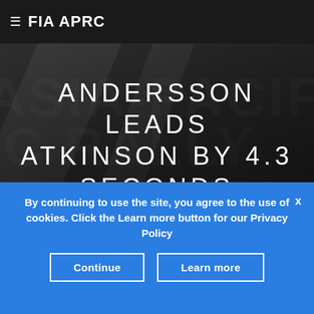≡ FIA APRC
[Figure (screenshot): Dark hero background with ASIA-PACIFIC watermark text visible behind headline]
ANDERSSON LEADS ATKINSON BY 4.3 SECONDS
By continuing to use the site, you agree to the use of cookies. Click the Learn more button for our Privacy Policy
Continue   Learn more